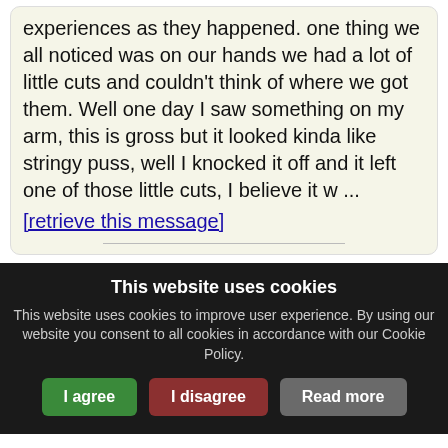experiences as they happened. one thing we all noticed was on our hands we had a lot of little cuts and couldn't think of where we got them. Well one day I saw something on my arm, this is gross but it looked kinda like stringy puss, well I knocked it off and it left one of those little cuts, I believe it w ... [retrieve this message]
Re: Worms in my thigh!?!?! by moe549
18 years ago   28,335   Parasites Support
This is soo gross and kinda scary. but I had
This website uses cookies
This website uses cookies to improve user experience. By using our website you consent to all cookies in accordance with our Cookie Policy.